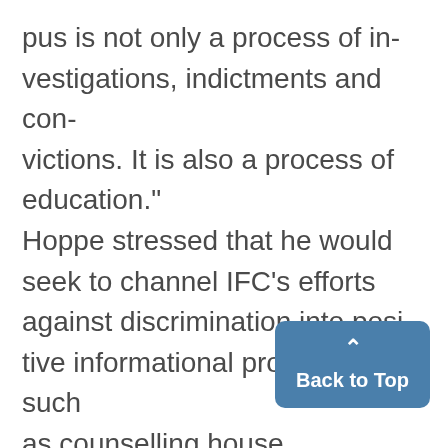pus is not only a process of investigations, indictments and convictions. It is also a process of education." Hoppe stressed that he would seek to channel IFC's efforts against discrimination into positive informational programs such as counselling house presidents, sponsoring civil rights speakers and supporting Negro History Week here. He conceded that the way to equal membership opportunity wil